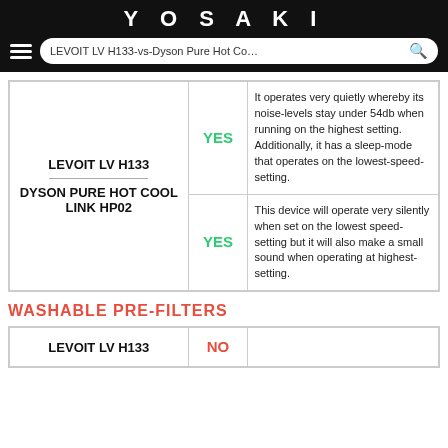YOSAKI
| Product | Verdict | Description |
| --- | --- | --- |
| LEVOIT LV H133 | YES | It operates very quietly whereby its noise-levels stay under 54db when running on the highest setting. Additionally, it has a sleep-mode that operates on the lowest-speed-setting. |
| DYSON PURE HOT COOL LINK HP02 | YES | This device will operate very silently when set on the lowest speed-setting but it will also make a small sound when operating at highest-setting. |
WASHABLE PRE-FILTERS
| Product | Verdict | Description |
| --- | --- | --- |
| LEVOIT LV H133 | NO |  |